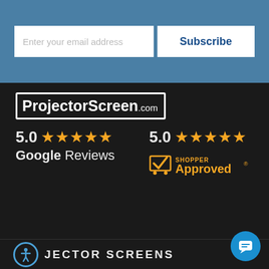Enter your email address
Subscribe
[Figure (logo): ProjectorScreen.com logo in white text with rectangular border on dark background]
5.0 ★★★★★ Google Reviews
[Figure (logo): 5.0 stars Shopper Approved badge with orange checkmark logo]
[Figure (logo): Accessibility icon circle and JECTOR SCREENS text partially visible]
[Figure (logo): Blue chat bubble icon on right side]
ADD TO CART